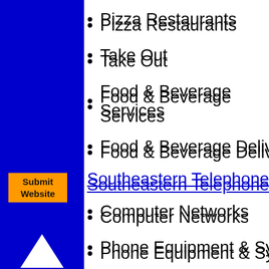Pizza Restaurants
Take Out
[Figure (illustration): Orange Submit Website button on blue sidebar]
Food & Beverage Services
Food & Beverage Delivery Servic
[Figure (illustration): White upward triangle arrow on blue sidebar]
Southeastern Telephone System
[Figure (illustration): White downward triangle arrow on blue sidebar]
Computer Networks
Phone Equipment & Systems De